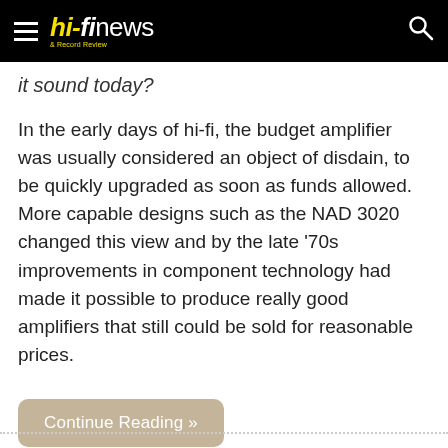hi-fi news & Record Review
it sound today?
In the early days of hi-fi, the budget amplifier was usually considered an object of disdain, to be quickly upgraded as soon as funds allowed. More capable designs such as the NAD 3020 changed this view and by the late '70s improvements in component technology had made it possible to produce really good amplifiers that still could be sold for reasonable prices.
Continue Reading »